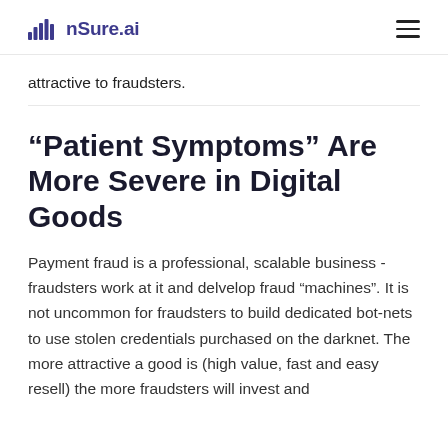nSure.ai
attractive to fraudsters.
“Patient Symptoms” Are More Severe in Digital Goods
Payment fraud is a professional, scalable business - fraudsters work at it and delvelop fraud “machines”. It is not uncommon for fraudsters to build dedicated bot-nets to use stolen credentials purchased on the darknet. The more attractive a good is (high value, fast and easy resell) the more fraudsters will invest and